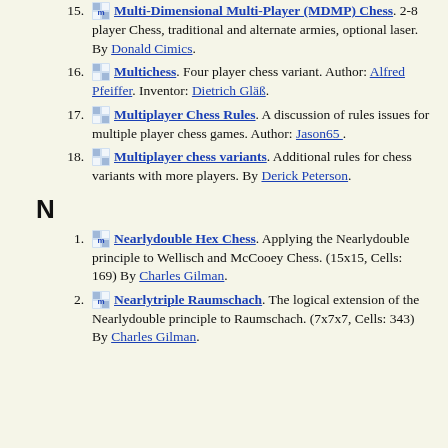15. [icon] Multi-Dimensional Multi-Player (MDMP) Chess. 2-8 player Chess, traditional and alternate armies, optional laser. By Donald Cimics.
16. [icon] Multichess. Four player chess variant. Author: Alfred Pfeiffer. Inventor: Dietrich Gläß.
17. [icon] Multiplayer Chess Rules. A discussion of rules issues for multiple player chess games. Author: Jason65 .
18. [icon] Multiplayer chess variants. Additional rules for chess variants with more players. By Derick Peterson.
N
1. [icon] Nearlydouble Hex Chess. Applying the Nearlydouble principle to Wellisch and McCooey Chess. (15x15, Cells: 169) By Charles Gilman.
2. [icon] Nearlytriple Raumschach. The logical extension of the Nearlydouble principle to Raumschach. (7x7x7, Cells: 343) By Charles Gilman.